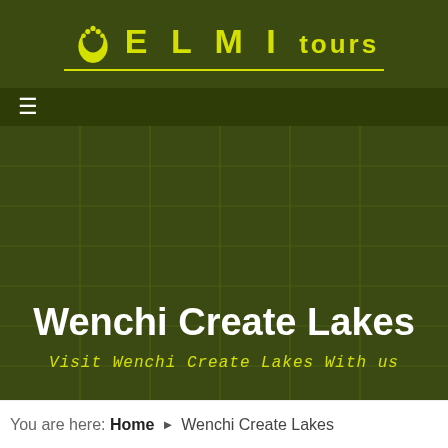ELMI TOURS
[Figure (logo): ELMI TOURS logo with Africa footprint icon and yellow text on dark olive green background]
Wenchi Create Lakes
Visit Wenchi Create Lakes With us
You are here: Home › Wenchi Create Lakes